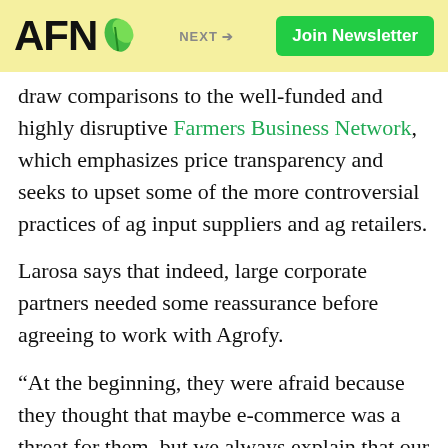AFN | NEXT → | Join Newsletter
draw comparisons to the well-funded and highly disruptive Farmers Business Network, which emphasizes price transparency and seeks to upset some of the more controversial practices of ag input suppliers and ag retailers.
Larosa says that indeed, large corporate partners needed some reassurance before agreeing to work with Agrofy.
“At the beginning, they were afraid because they thought that maybe e-commerce was a threat for them, but we always explain that our business model is to help them use the internet and digital tools,” he said. “We don’t want to destroy their